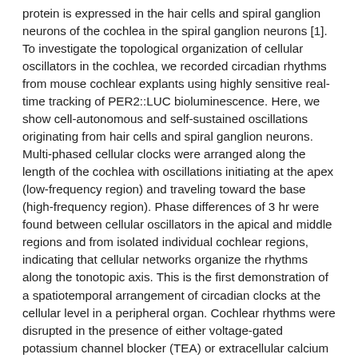protein is expressed in the hair cells and spiral ganglion neurons of the cochlea in the spiral ganglion neurons [1]. To investigate the topological organization of cellular oscillators in the cochlea, we recorded circadian rhythms from mouse cochlear explants using highly sensitive real-time tracking of PER2::LUC bioluminescence. Here, we show cell-autonomous and self-sustained oscillations originating from hair cells and spiral ganglion neurons. Multi-phased cellular clocks were arranged along the length of the cochlea with oscillations initiating at the apex (low-frequency region) and traveling toward the base (high-frequency region). Phase differences of 3 hr were found between cellular oscillators in the apical and middle regions and from isolated individual cochlear regions, indicating that cellular networks organize the rhythms along the tonotopic axis. This is the first demonstration of a spatiotemporal arrangement of circadian clocks at the cellular level in a peripheral organ. Cochlear rhythms were disrupted in the presence of either voltage-gated potassium channel blocker (TEA) or extracellular calcium chelator (BAPTA), demonstrating that multiple types of ion channels contribute to the maintenance of coherent rhythms. In contrast, preventing action potentials with tetrodotoxin (TTX) or interfering with cell-to-cell communication the broad-spectrum gap junction blocker (CBX [carbenoxolone]) had no influence on cochlear